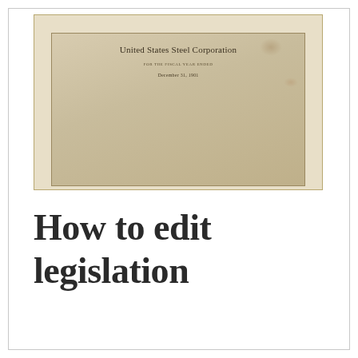[Figure (photo): Photograph of an old document cover page reading 'United States Steel Corporation' with subtext 'For the fiscal year ended' and 'December 31, 1901', printed on aged/yellowed paper with a gold/yellow border frame.]
How to edit legislation